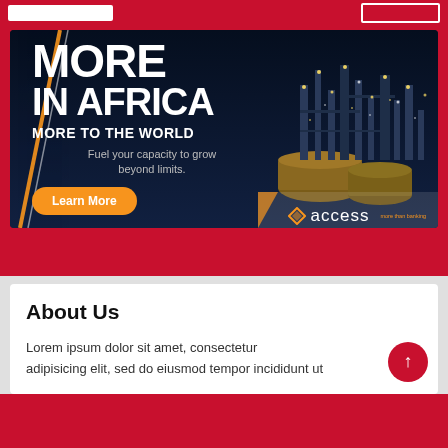[Figure (illustration): Access Bank advertisement banner. Dark blue industrial background with an oil refinery lit at night. Orange diagonal design element. Text reads: MORE IN AFRICA MORE TO THE WORLD. Subtext: Fuel your capacity to grow beyond limits. Orange rounded button: Learn More. Access bank logo in lower right with orange diamond icon and 'access' wordmark.]
About Us
Lorem ipsum dolor sit amet, consectetur adipisicing elit, sed do eiusmod tempor incididunt ut